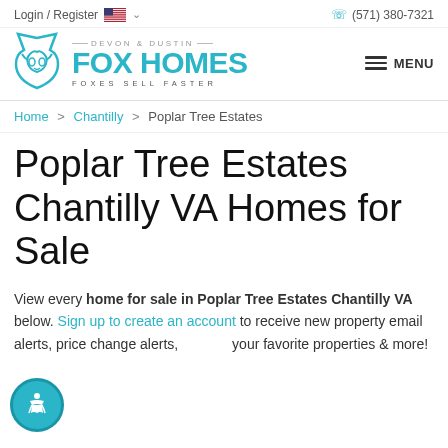Login / Register  🇺🇸 ∨   (571) 380-7321
[Figure (logo): Fox Homes logo with teal fox icon and text: DEVON & DUSTIN FOX HOMES FOXES SELL FASTER, with hamburger menu icon and MENU label on the right]
Home > Chantilly > Poplar Tree Estates
Poplar Tree Estates Chantilly VA Homes for Sale
View every home for sale in Poplar Tree Estates Chantilly VA below. Sign up to create an account to receive new property email alerts, price change alerts, your favorite properties & more!